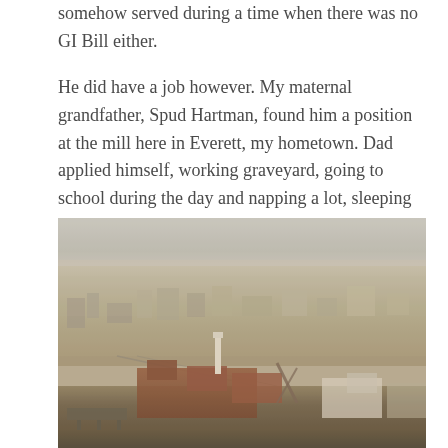somehow served during a time when there was no GI Bill either.

He did have a job however. My maternal grandfather, Spud Hartman, found him a position at the mill here in Everett, my hometown. Dad applied himself, working graveyard, going to school during the day and napping a lot, sleeping on weekends.
[Figure (photo): Aerial photograph of Everett, Washington showing the city, harbor, waterfront industrial area with a mill and smokestack, and surrounding residential neighborhoods. The image has a vintage, faded color quality typical of mid-20th century photography.]